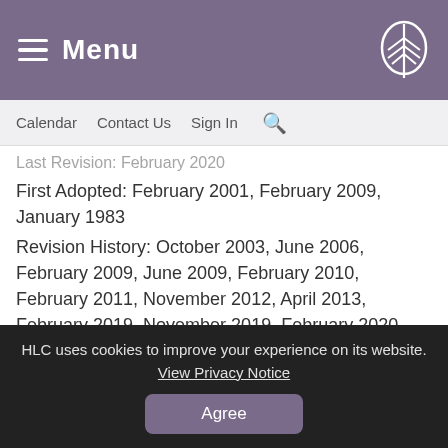Menu
Calendar  Contact Us  Sign In
Last Revision: February 2020
First Adopted: February 2001, February 2009, January 1983
Revision History: October 2003, June 2006, February 2009, June 2009, February 2010, February 2011, November 2012, April 2013, February 2019, November 2019, February 2020
Notes: Policies combined November 2012 - 2.6(d),
HLC uses cookies to improve your experience on its website. View Privacy Notice
Agree